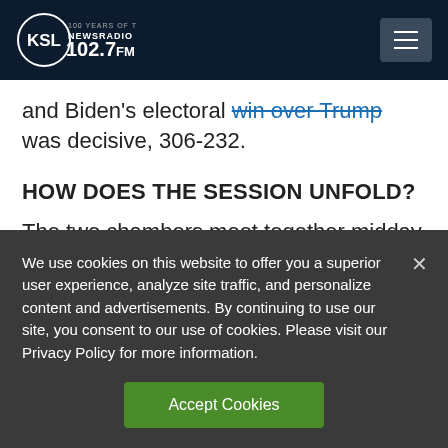KSL NewsRadio 102.7FM
and Biden's electoral win over Trump was decisive, 306-232.
HOW DOES THE SESSION UNFOLD?
The two chambers meet together midday to count the votes. If the vice president cannot
We use cookies on this website to offer you a superior user experience, analyze site traffic, and personalize content and advertisements. By continuing to use our site, you consent to our use of cookies. Please visit our Privacy Policy for more information.
Accept Cookies